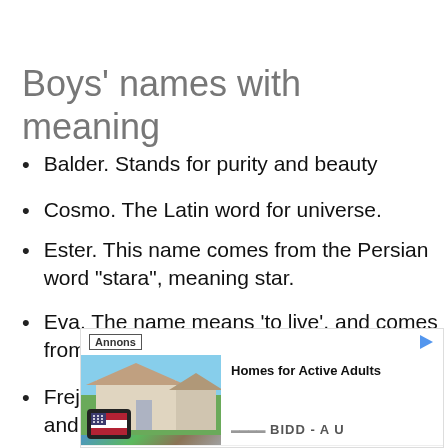Boys' names with meaning
Balder. Stands for purity and beauty
Cosmo. The Latin word for universe.
Ester. This name comes from the Persian word "stara", meaning star.
Eva. The name means 'to live', and comes from the first woman God created.
Frej. The Norse god who stood for love and fertility.
[Figure (screenshot): Advertisement banner showing 'Annons' label, image of a house, text 'Homes for Active Adults', 'BIDD - A U', and a 'Learn more' link]